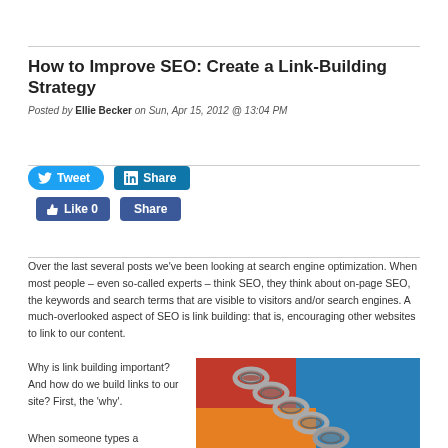How to Improve SEO: Create a Link-Building Strategy
Posted by Ellie Becker on Sun, Apr 15, 2012 @ 13:04 PM
[Figure (other): Social sharing buttons: Tweet (Twitter), Share (LinkedIn), Like 0 (Facebook), Share (Facebook)]
Over the last several posts we’ve been looking at search engine optimization. When most people – even so-called experts – think SEO, they think about on-page SEO, the keywords and search terms that are visible to visitors and/or search engines. A much-overlooked aspect of SEO is link building: that is, encouraging other websites to link to our content.
Why is link building important? And how do we build links to our site? First, the ‘why’.
When someone types a
[Figure (photo): Close-up photograph of metal chain links on a colorful background (red, blue, orange)]